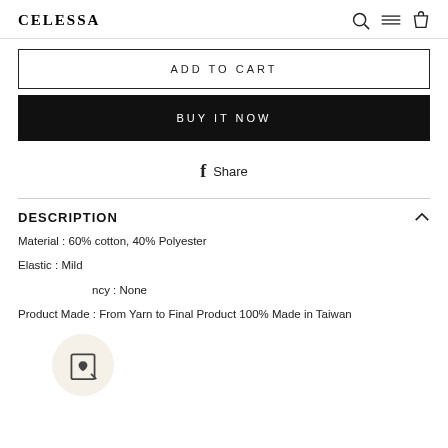CELESSA
ADD TO CART
BUY IT NOW
Share
DESCRIPTION
Material : 60% cotton, 40% Polyester
Elastic : Mild
…ncy : None
Product Made : From Yarn to Final Product 100% Made in Taiwan